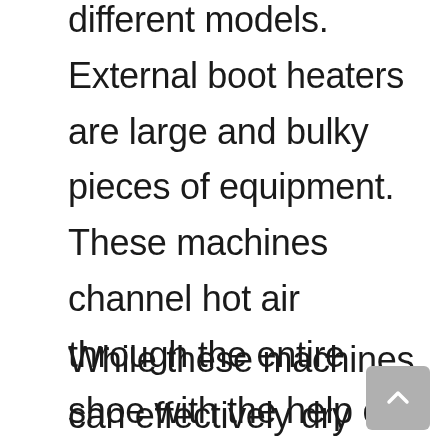different models. External boot heaters are large and bulky pieces of equipment. These machines channel hot air through the entire shoe with the help of a blower and tubes or vents.
While these machines can effectively dry and heat a variety of riding gear, including gloves and boots, they are extremely